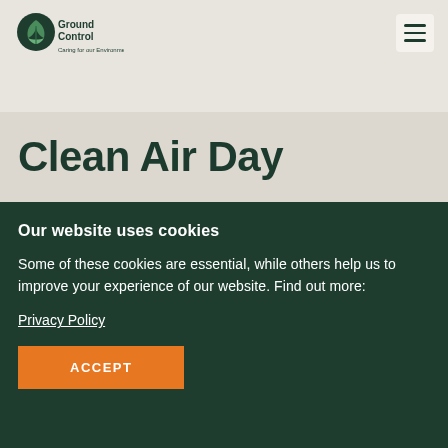[Figure (logo): Ground Control logo with leaf/plant icon and text 'Ground Control - Caring for our Environment']
Clean Air Day
Our website uses cookies
Some of these cookies are essential, while others help us to improve your experience of our website. Find out more:
Privacy Policy
ACCEPT